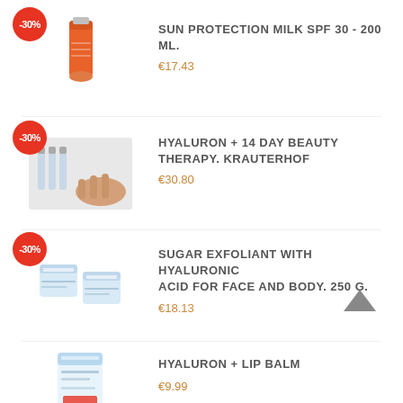[Figure (photo): Orange tube of sun protection milk with -30% badge]
SUN PROTECTION MILK SPF 30 - 200 ML.
€17.43
[Figure (photo): Hyaluron ampoules beauty therapy product with -30% badge]
HYALURON + 14 DAY BEAUTY THERAPY. KRAUTERHOF
€30.80
[Figure (photo): Sugar exfoliant cream jars with -30% badge]
SUGAR EXFOLIANT WITH HYALURONIC ACID FOR FACE AND BODY. 250 G.
€18.13
[Figure (illustration): Scroll-to-top arrow button]
[Figure (photo): Hyaluron lip balm product, partially visible]
HYALURON + LIP BALM
€9.99